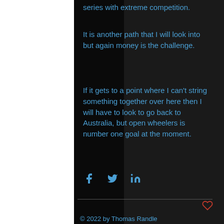series with extreme competition.
It is another path that I will look into but again money is the challenge.
If it gets to a point where I can't string something together over here then I will have to look to go back to Australia, but open wheelers is number one goal at the moment.
[Figure (infographic): Social share icons: Facebook (f), Twitter (bird), LinkedIn (in)]
© 2022 by Thomas Randle
[Figure (infographic): Footer social media icons: Facebook, Instagram, Twitter, YouTube]